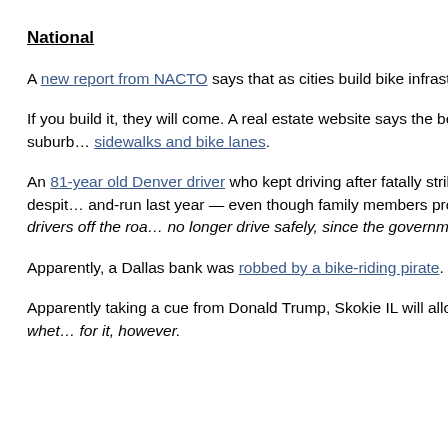National
A new report from NACTO says that as cities build bike infrastructure, bicycling goes up while the risk to riders goes down.
If you build it, they will come. A real estate website says the belief that millennials are eschewing suburbs ain't necessarily so — as long as those suburbs have sidewalks and bike lanes.
An 81-year old Denver driver who kept driving after fatally striking a cyclist standing in a bike lane was still allowed to behind the wheel despite committing a hit-and-run last year — even though family members promised she wouldn't drive anymore. It's up to family members to keep older drivers off the road when they no longer drive safely, since the government is unable, or unwilling,
Apparently, a Dallas bank was robbed by a bike-riding pirate.
Apparently taking a cue from Donald Trump, Skokie IL will allow residents to build fences up to ten feet high along a new bike path. No word on whet. for it, however.